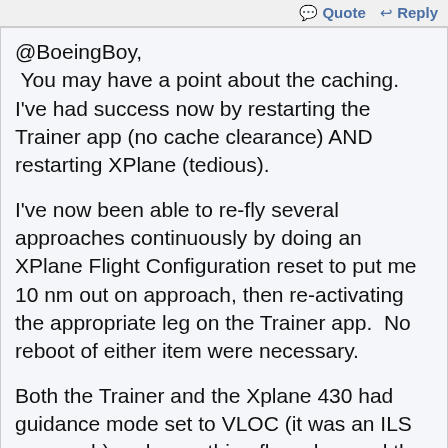Quote  Reply
@BoeingBoy,
 You may have a point about the caching.  I've had success now by restarting the Trainer app (no cache clearance) AND restarting XPlane (tedious).

I've now been able to re-fly several approaches continuously by doing an XPlane Flight Configuration reset to put me 10 nm out on approach, then re-activating the appropriate leg on the Trainer app.  No reboot of either item were necessary.

Both the Trainer and the Xplane 430 had guidance mode set to VLOC (it was an ILS approach) and everything flew okay and the glideslope came in